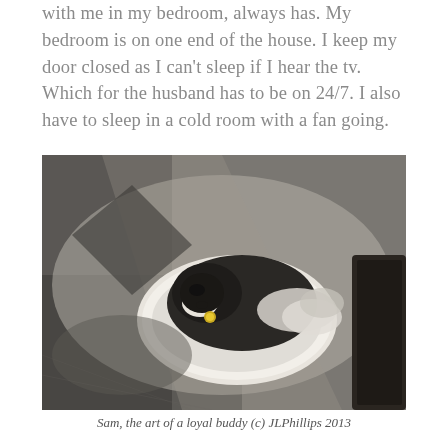with me in my bedroom, always has. My bedroom is on one end of the house. I keep my door closed as I can't sleep if I hear the tv. Which for the husband has to be on 24/7. I also have to sleep in a cold room with a fan going.
[Figure (photo): A black and white dog (Boston Terrier or similar breed) curled up sleeping on a round white fluffy dog bed, photographed from above with sunlight casting dramatic shadows on a carpet floor.]
Sam, the art of a loyal buddy (c) JLPhillips 2013